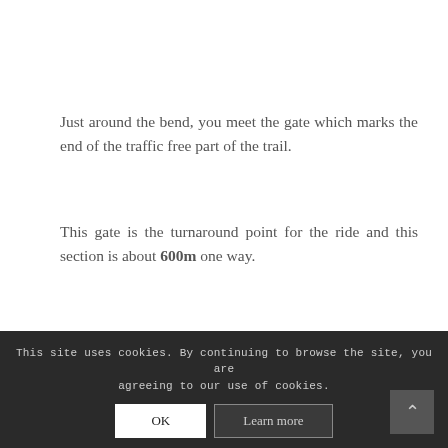Just around the bend, you meet the gate which marks the end of the traffic free part of the trail.
This gate is the turnaround point for the ride and this section is about 600m one way.
Head back the way you came to complete the ride.
OPTIONAL
This site uses cookies. By continuing to browse the site, you are agreeing to our use of cookies.